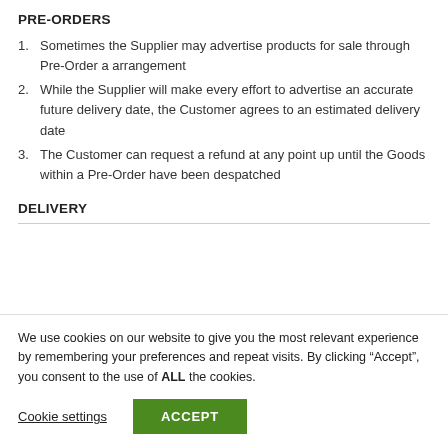PRE-ORDERS
Sometimes the Supplier may advertise products for sale through Pre-Order a arrangement
While the Supplier will make every effort to advertise an accurate future delivery date, the Customer agrees to an estimated delivery date
The Customer can request a refund at any point up until the Goods within a Pre-Order have been despatched
DELIVERY
We use cookies on our website to give you the most relevant experience by remembering your preferences and repeat visits. By clicking “Accept”, you consent to the use of ALL the cookies.
Cookie settings | ACCEPT